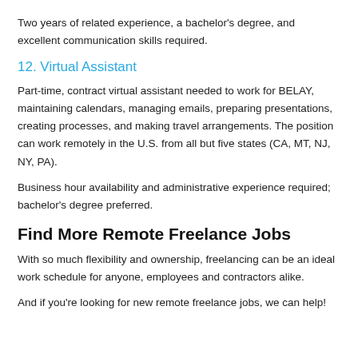Two years of related experience, a bachelor's degree, and excellent communication skills required.
12. Virtual Assistant
Part-time, contract virtual assistant needed to work for BELAY, maintaining calendars, managing emails, preparing presentations, creating processes, and making travel arrangements. The position can work remotely in the U.S. from all but five states (CA, MT, NJ, NY, PA).
Business hour availability and administrative experience required; bachelor's degree preferred.
Find More Remote Freelance Jobs
With so much flexibility and ownership, freelancing can be an ideal work schedule for anyone, employees and contractors alike.
And if you're looking for new remote freelance jobs, we can help!